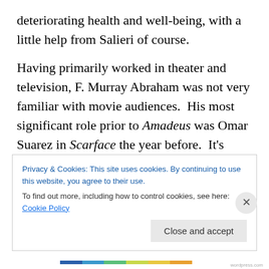deteriorating health and well-being, with a little help from Salieri of course.

Having primarily worked in theater and television, F. Murray Abraham was not very familiar with movie audiences.  His most significant role prior to Amadeus was Omar Suarez in Scarface the year before.  It's difficult going from a relatively unknown to winning an Academy Award.  Where does one go professionally after a performance like Murray's Salieri?  He's had a number of noteworthy roles over the years, but the success Murray
Privacy & Cookies: This site uses cookies. By continuing to use this website, you agree to their use.
To find out more, including how to control cookies, see here: Cookie Policy
Close and accept